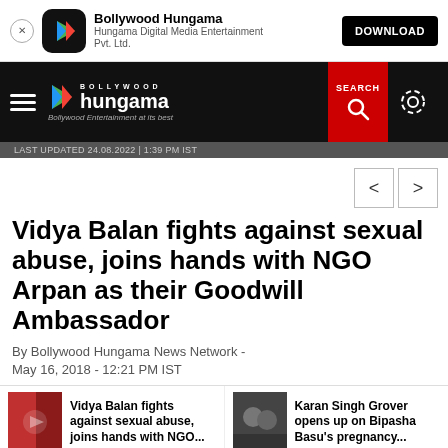Bollywood Hungama — Hungama Digital Media Entertainment Pvt. Ltd. — DOWNLOAD
[Figure (screenshot): Bollywood Hungama navigation bar with logo, hamburger menu, search button and gear icon. Last updated 24.08.2022 | 1:39 PM IST]
Vidya Balan fights against sexual abuse, joins hands with NGO Arpan as their Goodwill Ambassador
By Bollywood Hungama News Network - May 16, 2018 - 12:21 PM IST
Vidya Balan fights against sexual abuse, joins hands with NGO...
Karan Singh Grover opens up on Bipasha Basu's pregnancy...